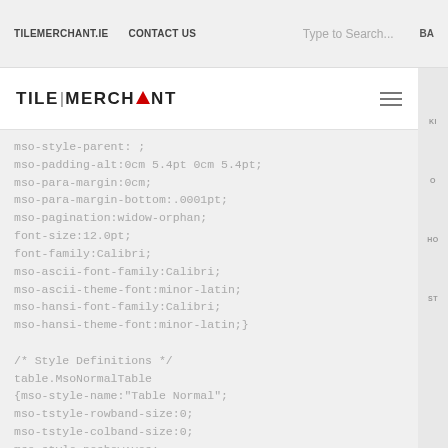TILEMERCHANT.IE   CONTACT US   Type to Search...   BA
[Figure (logo): TILE|MERCHANT logo with red triangle replacing letter A in MERCHANT, with hamburger menu icon on right]
mso-style-parent: ;
mso-padding-alt:0cm 5.4pt 0cm 5.4pt;
mso-para-margin:0cm;
mso-para-margin-bottom:.0001pt;
mso-pagination:widow-orphan;
font-size:12.0pt;
font-family:Calibri;
mso-ascii-font-family:Calibri;
mso-ascii-theme-font:minor-latin;
mso-hansi-font-family:Calibri;
mso-hansi-theme-font:minor-latin;}

/* Style Definitions */
table.MsoNormalTable
{mso-style-name:"Table Normal";
mso-tstyle-rowband-size:0;
mso-tstyle-colband-size:0;
mso-style-noshow:yes;
mso-style-priority:99;
mso-style-parent:"";